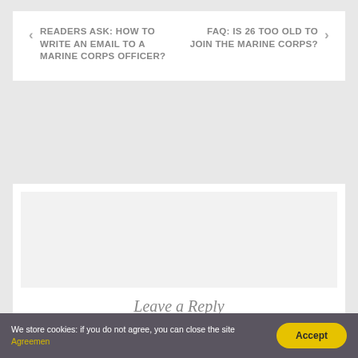< READERS ASK: HOW TO WRITE AN EMAIL TO A MARINE CORPS OFFICER?
FAQ: IS 26 TOO OLD TO JOIN THE MARINE CORPS? >
Leave a Reply
We store cookies: if you do not agree, you can close the site Agreemen
Accept